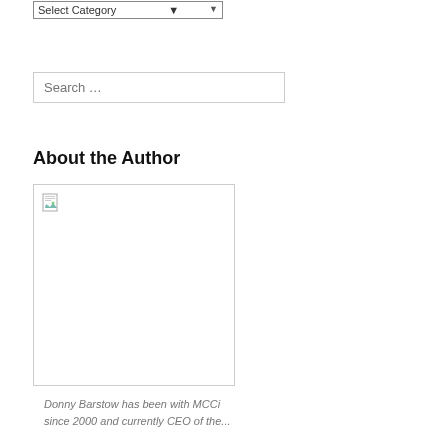[Figure (screenshot): A dropdown select box with label 'Select Category' and a dropdown arrow]
[Figure (screenshot): A search input box with placeholder text 'Search …']
About the Author
[Figure (photo): Author image placeholder with broken image icon (small document icon with green leaf)]
Donny Barstow has been with MCCi since 2000 and currently CEO of the...